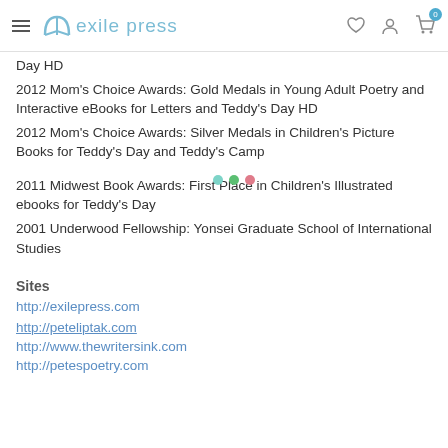exile press
Day HD
2012 Mom's Choice Awards: Gold Medals in Young Adult Poetry and Interactive eBooks for Letters and Teddy's Day HD
2012 Mom's Choice Awards: Silver Medals in Children's Picture Books for Teddy's Day and Teddy's Camp
2011 Midwest Book Awards: First Place in Children's Illustrated ebooks for Teddy's Day
2001 Underwood Fellowship: Yonsei Graduate School of International Studies
Sites
http://exilepress.com
http://peteliptak.com
http://www.thewritersink.com
http://petespoetry.com